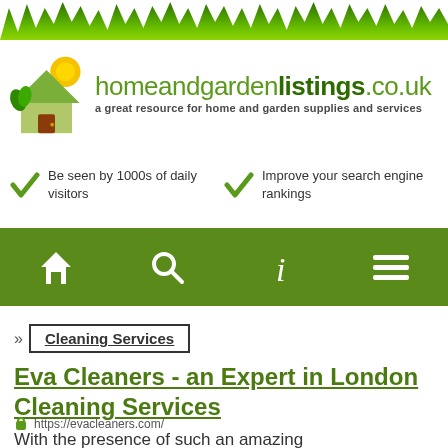[Figure (logo): homeandgardenlistings.co.uk logo with green house icon and grass strip at top, tagline: a great resource for home and garden supplies and services]
Be seen by 1000s of daily visitors
Improve your search engine rankings
[Figure (infographic): Green navigation bar with home icon, search/magnifying glass icon, italic i (info) icon, and hamburger menu icon]
» Cleaning Services
Eva Cleaners - an Expert in London Cleaning Services
https://evacleaners.com/
With the presence of such an amazing